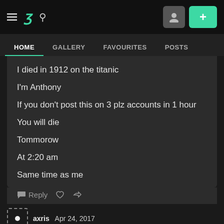[Figure (screenshot): DeviantArt website top navigation bar with hamburger menu, DA logo, search icon, profile icon, and green plus button]
HOME   GALLERY   FAVOURITES   POSTS
I died in 1912 on the titanic
I'm Anthony
If you don't post this on 3 plz accounts in 1 hour
You will die
Tommorow
At 2:20 am
Same time as me
Reply
axris   Apr 24, 2017